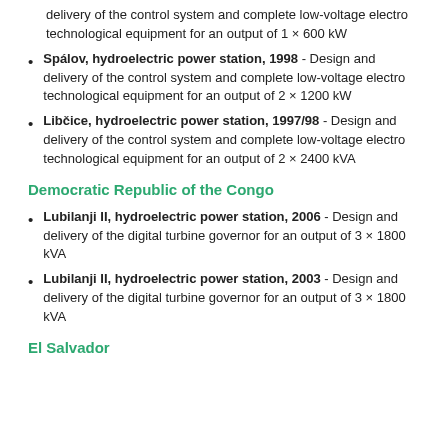delivery of the control system and complete low-voltage electro technological equipment for an output of 1 × 600 kW
Spálov, hydroelectric power station, 1998 - Design and delivery of the control system and complete low-voltage electro technological equipment for an output of 2 × 1200 kW
Libčice, hydroelectric power station, 1997/98 - Design and delivery of the control system and complete low-voltage electro technological equipment for an output of 2 × 2400 kVA
Democratic Republic of the Congo
Lubilanji II, hydroelectric power station, 2006 - Design and delivery of the digital turbine governor for an output of 3 × 1800 kVA
Lubilanji II, hydroelectric power station, 2003 - Design and delivery of the digital turbine governor for an output of 3 × 1800 kVA
El Salvador